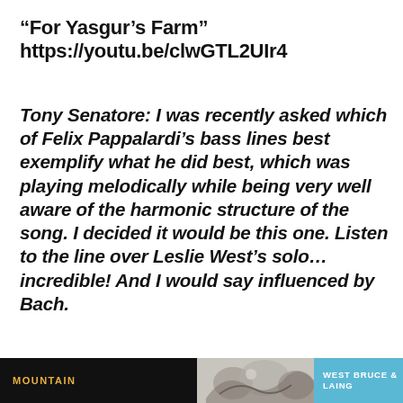“For Yasgur’s Farm” https://youtu.be/clwGTL2UIr4
Tony Senatore: I was recently asked which of Felix Pappalardi’s bass lines best exemplify what he did best, which was playing melodically while being very well aware of the harmonic structure of the song. I decided it would be this one. Listen to the line over Leslie West’s solo…incredible! And I would say influenced by Bach.
[Figure (illustration): Bottom strip with three sections: black section with MOUNTAIN text in gold, middle section with artistic illustration, blue section with WEST BRUCE & LAING text]